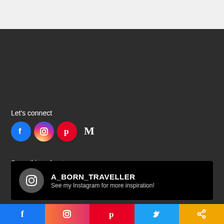[Figure (screenshot): Light gray top bar area]
Let's connect
[Figure (infographic): Social media icons: Facebook, Instagram, Pinterest, Medium]
Something about me
[Figure (infographic): Instagram card with handle A_BORN_TRAVELLER and tagline 'See my Instagram for more inspiration!']
[Figure (photo): Partial photo of green foliage/plants visible at bottom]
f | Instagram icon | Pinterest icon | Twitter bird | share icon